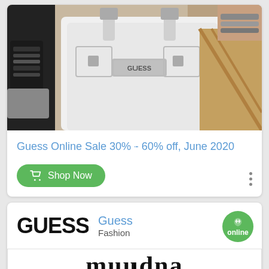[Figure (photo): Fashion photo showing a Guess white handbag held by two women, one with bracelets visible]
Guess Online Sale 30% - 60% off, June 2020
Shop Now
[Figure (logo): GUESS brand logo text in large bold letters]
Guess
Fashion
[Figure (photo): Muudna x collaboration image showing stylized text]